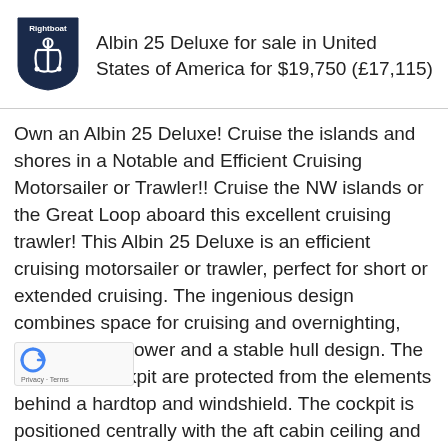[Figure (logo): Rightboat logo: dark navy shield with anchor icon and 'Rightboat' text at top]
Albin 25 Deluxe for sale in United States of America for $19,750 (£17,115)
Own an Albin 25 Deluxe! Cruise the islands and shores in a Notable and Efficient Cruising Motorsailer or Trawler!! Cruise the NW islands or the Great Loop aboard this excellent cruising trawler! This Albin 25 Deluxe is an efficient cruising motorsailer or trawler, perfect for short or extended cruising. The ingenious design combines space for cruising and overnighting, with efficient power and a stable hull design. The helm and cockpit are protected from the elements behind a hardtop and windshield. The cockpit is positioned centrally with the aft cabin ceiling and ports to the rear forming an aft deck and providing excellent comfort and a dry ride. The boat is rigged with a Mainsail and a Roller Furling Jib. Below decks, the two cabin spaces make room for up to four sleeping. The foward cabin has a V-berth, galley, and a